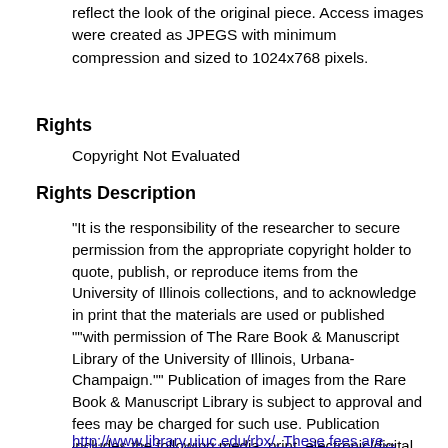reflect the look of the original piece. Access images were created as JPEGS with minimum compression and sized to 1024x768 pixels.
Rights
Copyright Not Evaluated
Rights Description
"It is the responsibility of the researcher to secure permission from the appropriate copyright holder to quote, publish, or reproduce items from the University of Illinois collections, and to acknowledge in print that the materials are used or published ""with permission of The Rare Book & Manuscript Library of the University of Illinois, Urbana-Champaign."" Publication of images from the Rare Book & Manuscript Library is subject to approval and fees may be charged for such use. Publication includes the following media: print, electronic/digital, videotape, film, or microfilm. Permission to use images must be obtained in advance and in writing from the Rare Book & Manuscript Library or going to
http://www.library.uiuc.edu/rbx/. These fees are...